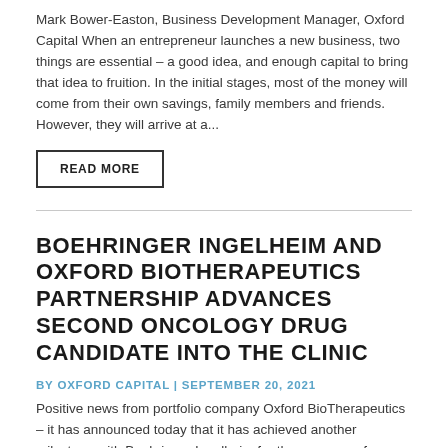Mark Bower-Easton, Business Development Manager, Oxford Capital When an entrepreneur launches a new business, two things are essential – a good idea, and enough capital to bring that idea to fruition. In the initial stages, most of the money will come from their own savings, family members and friends. However, they will arrive at a...
READ MORE
BOEHRINGER INGELHEIM AND OXFORD BIOTHERAPEUTICS PARTNERSHIP ADVANCES SECOND ONCOLOGY DRUG CANDIDATE INTO THE CLINIC
BY OXFORD CAPITAL | SEPTEMBER 20, 2021
Positive news from portfolio company Oxford BioTherapeutics – it has announced today that it has achieved another milestone with Boehringer Ingelheim for the progress of a second oncology drug candidate.
READ MORE